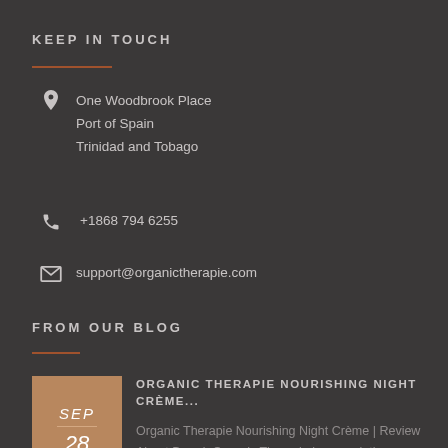KEEP IN TOUCH
One Woodbrook Place
Port of Spain
Trinidad and Tobago
+1868 794 6255
support@organictherapie.com
FROM OUR BLOG
ORGANIC THERAPIE NOURISHING NIGHT CRÈME...
Organic Therapie Nourishing Night Crème | Review About Brand: Organic Therapie is a revolutionary line of natural extracts based health & beauty products. It is the...